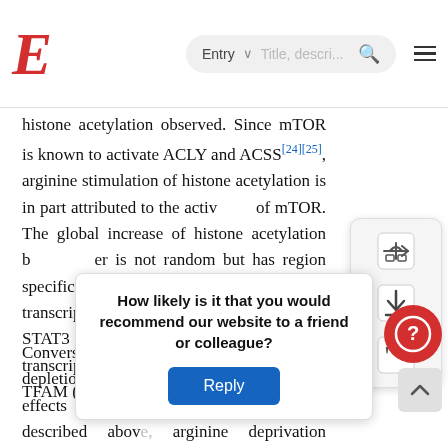E [logo] Entry | Title, description... [search] [menu]
histone acetylation observed. Since mTOR is known to activate ACLY and ACSS[24][25], arginine stimulation of histone acetylation is in part attributed to the activation of mTOR. The global increase of histone acetylation by arginine is not random but has region specificity, which is dictated by several transcription factors including TEAD4, STAT3 (signal transducer and activator of transcription 3), WT1 (Wilms' tumor 1) and TFAM ( mitochondrial transcription factor...
Conversely, arginine deprivation leads to depletion of α-KG, which has profound effects on epigenetic regulation. As described above, arginine deprivation immediately affects mitochondrial... depletion... g... KG. Alpha-KG... ontaining
How likely is it that you would recommend our website to a friend or colleague?